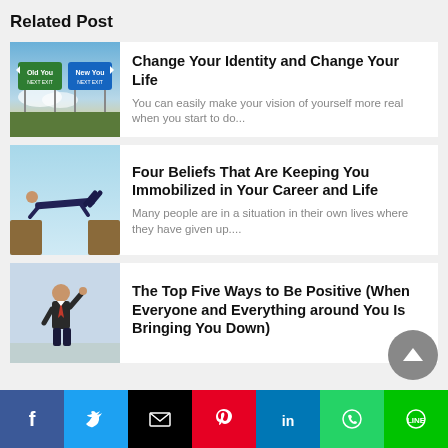Related Post
[Figure (photo): Highway road signs reading 'Old You' and 'New You' with sky and clouds background]
Change Your Identity and Change Your Life
You can easily make your vision of yourself more real when you start to do...
[Figure (photo): Person doing a bridge pose between two rock surfaces against blue sky]
Four Beliefs That Are Keeping You Immobilized in Your Career and Life
Many people are in a situation in their own lives where they have given up....
[Figure (photo): Businessman in suit celebrating with raised fist]
The Top Five Ways to Be Positive (When Everyone and Everything around You Is Bringing You Down)